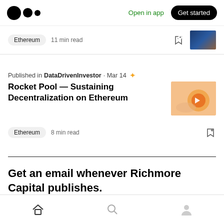Medium logo | Open in app | Get started
Ethereum  11 min read
Published in DataDrivenInvestor · Mar 14
Rocket Pool — Sustaining Decentralization on Ethereum
Ethereum  8 min read
Get an email whenever Richmore Capital publishes.
Home | Search | Profile